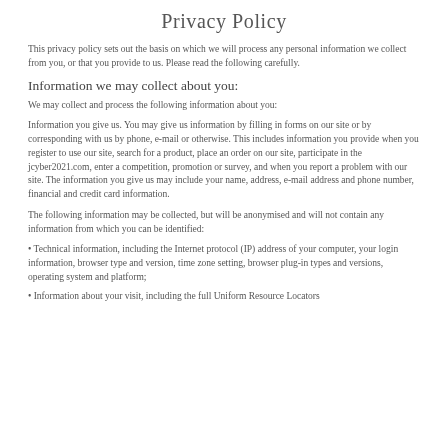Privacy Policy
This privacy policy sets out the basis on which we will process any personal information we collect from you, or that you provide to us. Please read the following carefully.
Information we may collect about you:
We may collect and process the following information about you:
Information you give us. You may give us information by filling in forms on our site or by corresponding with us by phone, e-mail or otherwise. This includes information you provide when you register to use our site, search for a product, place an order on our site, participate in the jcyber2021.com, enter a competition, promotion or survey, and when you report a problem with our site. The information you give us may include your name, address, e-mail address and phone number, financial and credit card information.
The following information may be collected, but will be anonymised and will not contain any information from which you can be identified:
• Technical information, including the Internet protocol (IP) address of your computer, your login information, browser type and version, time zone setting, browser plug-in types and versions, operating system and platform;
• Information about your visit, including the full Uniform Resource Locators